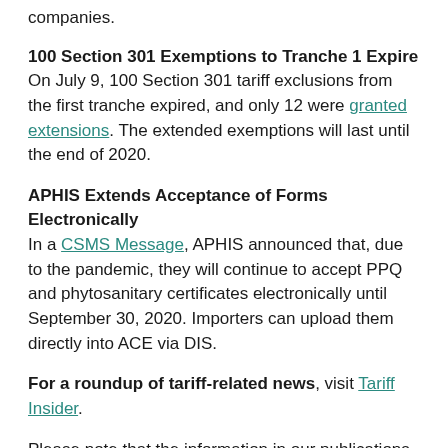companies.
100 Section 301 Exemptions to Tranche 1 Expire On July 9, 100 Section 301 tariff exclusions from the first tranche expired, and only 12 were granted extensions. The extended exemptions will last until the end of 2020.
APHIS Extends Acceptance of Forms Electronically In a CSMS Message, APHIS announced that, due to the pandemic, they will continue to accept PPQ and phytosanitary certificates electronically until September 30, 2020. Importers can upload them directly into ACE via DIS.
For a roundup of tariff-related news, visit Tariff Insider.
Please note that the information in our publications is compiled from a variety of sources based on the information we have to date. This information is